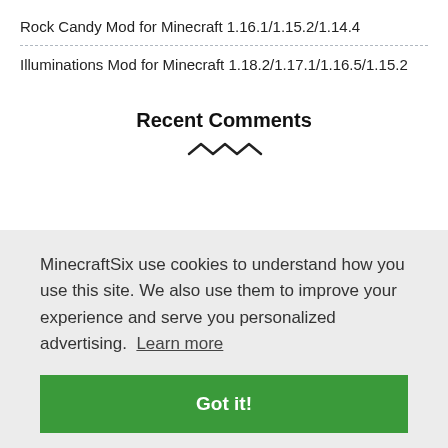Rock Candy Mod for Minecraft 1.16.1/1.15.2/1.14.4
Illuminations Mod for Minecraft 1.18.2/1.17.1/1.16.5/1.15.2
Recent Comments
MinecraftSix use cookies to understand how you use this site. We also use them to improve your experience and serve you personalized advertising.  Learn more
Got it!
picklerules on PizzaCraft Mod for Minecraft 1.12.2